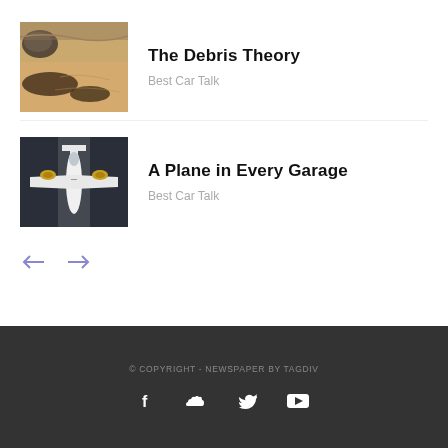[Figure (photo): Aerial view of rocks and sand on a beach with brown debris and seaweed]
The Debris Theory
Best Car Talk
[Figure (photo): Aerial top-down view of a white aircraft or spacecraft on dark tarmac with yellow markings]
A Plane in Every Garage
Best Car Talk
© COPYRIGHT - NEWSPAPER BY TAGDIV